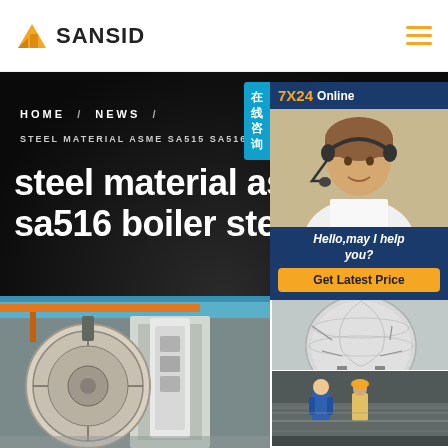[Figure (logo): SANSID company logo with orange building/triangle icon and hamburger menu]
SANSID
[Figure (screenshot): Dark hero banner with breadcrumb navigation and large white bold title text: steel material asme sa515 sa516 boiler steel plate]
HOME / NEWS /
STEEL MATERIAL ASME SA515 SA516 BOIL...
steel material asme sa515 sa516 boiler steel plate
[Figure (photo): 7X24 Online chat widget showing a woman with headset smiling, with text Hello, may I help you? and Get Latest Price button. Chinese tab 在线咨询 on left side.]
[Figure (photo): Industrial manufacturing facility photos showing large circular steel disc/plate machinery and other steel manufacturing equipment]